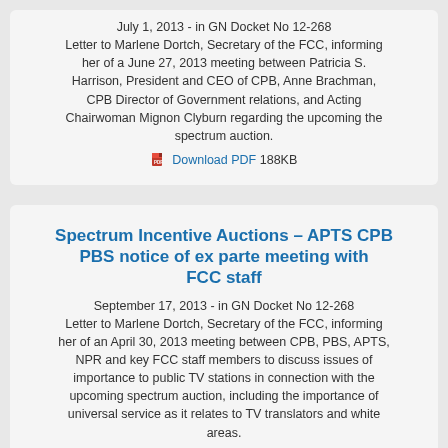July 1, 2013 - in GN Docket No 12-268
Letter to Marlene Dortch, Secretary of the FCC, informing her of a June 27, 2013 meeting between Patricia S. Harrison, President and CEO of CPB, Anne Brachman, CPB Director of Government relations, and Acting Chairwoman Mignon Clyburn regarding the upcoming the spectrum auction.
Download PDF 188KB
Spectrum Incentive Auctions – APTS CPB PBS notice of ex parte meeting with FCC staff
September 17, 2013 - in GN Docket No 12-268
Letter to Marlene Dortch, Secretary of the FCC, informing her of an April 30, 2013 meeting between CPB, PBS, APTS, NPR and key FCC staff members to discuss issues of importance to public TV stations in connection with the upcoming spectrum auction, including the importance of universal service as it relates to TV translators and white areas.
Download PDF 134KB